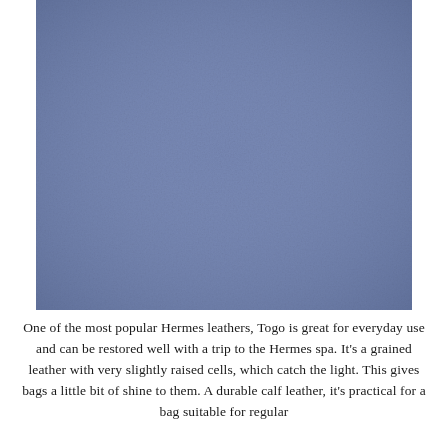[Figure (photo): Close-up photograph of blue-grey pebbled Togo leather texture with fine grain and very slightly raised cells.]
One of the most popular Hermes leathers, Togo is great for everyday use and can be restored well with a trip to the Hermes spa. It's a grained leather with very slightly raised cells, which catch the light. This gives bags a little bit of shine to them. A durable calf leather, it's practical for a bag suitable for regular